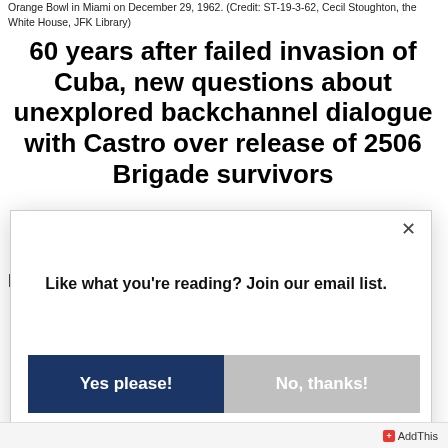Orange Bowl in Miami on December 29, 1962. (Credit: ST-19-3-62, Cecil Stoughton, the White House, JFK Library)
60 years after failed invasion of Cuba, new questions about unexplored backchannel dialogue with Castro over release of 2506 Brigade survivors
Brazilian, U.S. declassified records point
Like what you're reading? Join our email list.
Yes please!
No, thanks!